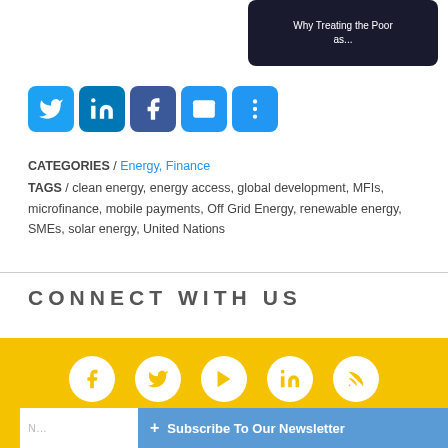[Figure (screenshot): Thumbnail image with text 'Why Treating the Poor as...' on dark background]
[Figure (infographic): Social share buttons: Twitter, LinkedIn, Facebook, Email, More]
CATEGORIES / Energy, Finance
TAGS / clean energy, energy access, global development, MFIs, microfinance, mobile payments, Off Grid Energy, renewable energy, SMEs, solar energy, United Nations
CONNECT WITH US
[Figure (infographic): Yellow footer with white circular social media icons: Facebook, Twitter, YouTube, LinkedIn, RSS]
+ Subscribe To Our Newsletter